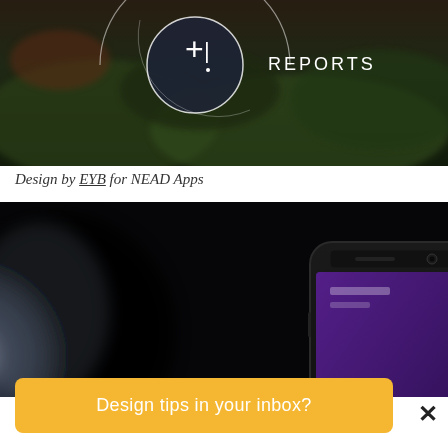[Figure (screenshot): Dark app screenshot showing a map with a circular icon containing a plus sign and exclamation mark, and the word REPORTS in white text on the right side. The background shows a blurred aerial/landscape photo.]
Design by EYB for NEAD Apps
[Figure (photo): Dark photo showing a black iPhone against a very dark background with a subtle globe/earth glow on the left. The phone screen shows a purple-ish app interface.]
Design tips in your inbox?